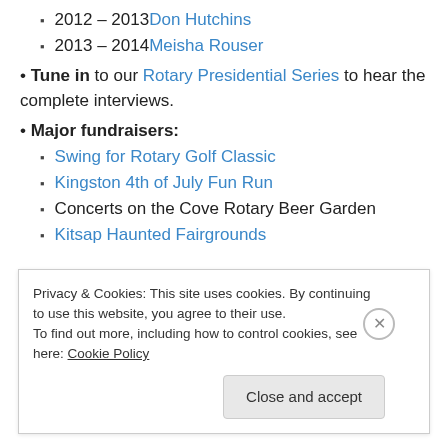2012 – 2013 Don Hutchins
2013 – 2014 Meisha Rouser
• Tune in to our Rotary Presidential Series to hear the complete interviews.
• Major fundraisers:
Swing for Rotary Golf Classic
Kingston 4th of July Fun Run
Concerts on the Cove Rotary Beer Garden
Kitsap Haunted Fairgrounds
Privacy & Cookies: This site uses cookies. By continuing to use this website, you agree to their use. To find out more, including how to control cookies, see here: Cookie Policy